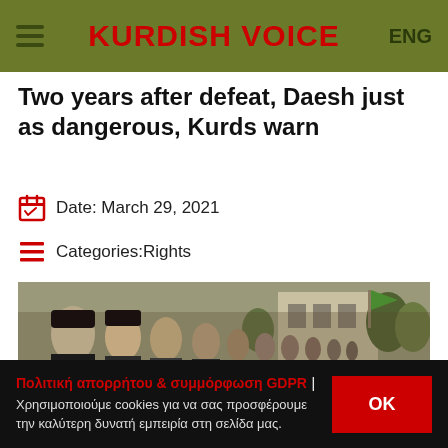KURDISH VOICE | ENG
Two years after defeat, Daesh just as dangerous, Kurds warn
Date: March 29, 2021
Categories:Rights
[Figure (photo): Row of uniformed Kurdish fighters standing in formation outdoors, with a building and green flag visible in the background.]
Πολιτική απορρήτου & συμμόρφωση GDPR | Χρησιμοποιούμε cookies για να σας προσφέρουμε την καλύτερη δυνατή εμπειρία στη σελίδα μας.